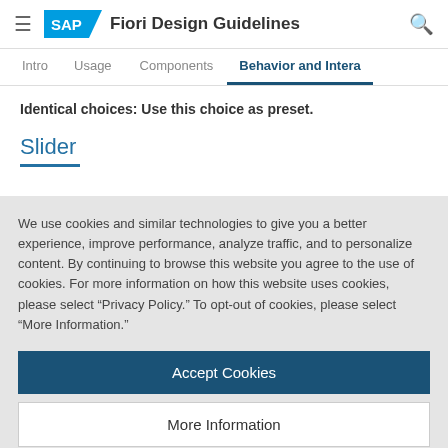SAP Fiori Design Guidelines
Behavior and Intera
Identical choices: Use this choice as preset.
Slider
We use cookies and similar technologies to give you a better experience, improve performance, analyze traffic, and to personalize content. By continuing to browse this website you agree to the use of cookies. For more information on how this website uses cookies, please select “Privacy Policy.” To opt-out of cookies, please select “More Information.”
Accept Cookies
More Information
Privacy Policy | Powered by: TrustArc